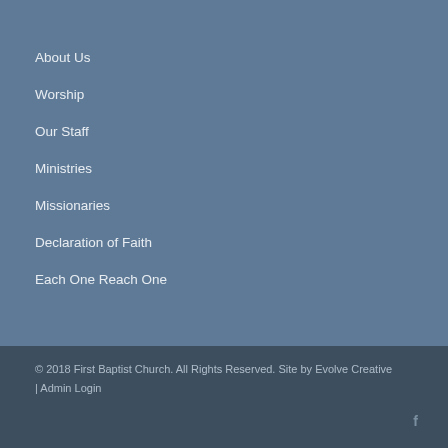About Us
Worship
Our Staff
Ministries
Missionaries
Declaration of Faith
Each One Reach One
© 2018 First Baptist Church. All Rights Reserved. Site by Evolve Creative | Admin Login